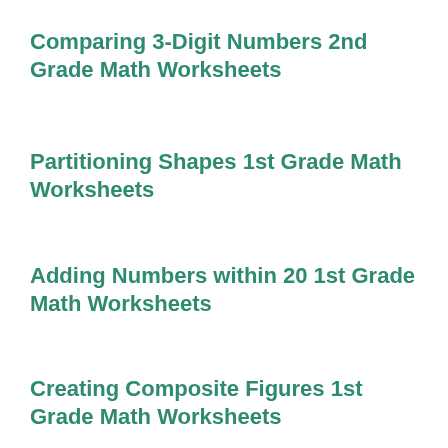Comparing 3-Digit Numbers 2nd Grade Math Worksheets
Partitioning Shapes 1st Grade Math Worksheets
Adding Numbers within 20 1st Grade Math Worksheets
Creating Composite Figures 1st Grade Math Worksheets